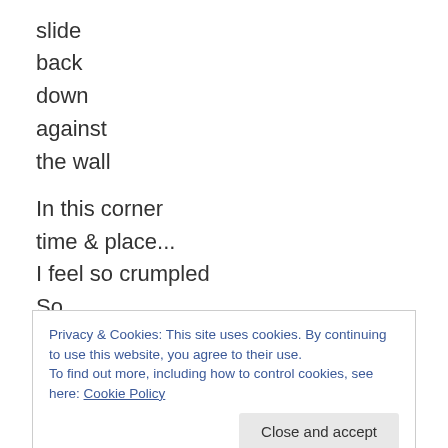slide
back
down
against
the wall
In this corner
time & place...
I feel so crumpled
So..
small
Privacy & Cookies: This site uses cookies. By continuing to use this website, you agree to their use.
To find out more, including how to control cookies, see here: Cookie Policy